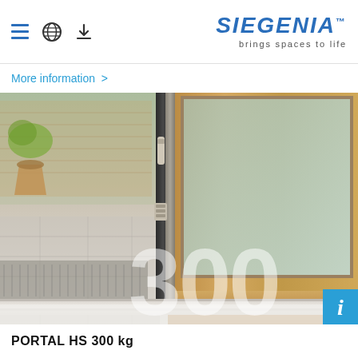SIEGENIA brings spaces to life
More information >
[Figure (photo): Close-up of a SIEGENIA PORTAL HS 300 kg sliding door system showing the bottom track, wooden door frame, locking hardware, and exterior patio. Large white '300' watermark overlaid on the image. Blue 'i' info badge in bottom-right corner.]
PORTAL HS 300 kg